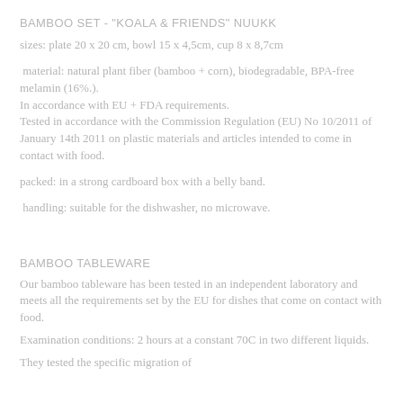BAMBOO SET - "KOALA & FRIENDS" NUUKK
sizes: plate 20 x 20 cm, bowl 15 x 4,5cm, cup 8 x 8,7cm
material: natural plant fiber (bamboo + corn), biodegradable, BPA-free melamin (16%.).
In accordance with EU + FDA requirements.
Tested in accordance with the Commission Regulation (EU) No 10/2011 of January 14th 2011 on plastic materials and articles intended to come in contact with food.
packed: in a strong cardboard box with a belly band.
handling: suitable for the dishwasher, no microwave.
BAMBOO TABLEWARE
Our bamboo tableware has been tested in an independent laboratory and meets all the requirements set by the EU for dishes that come on contact with food.
Examination conditions: 2 hours at a constant 70C in two different liquids.
They tested the specific migration of